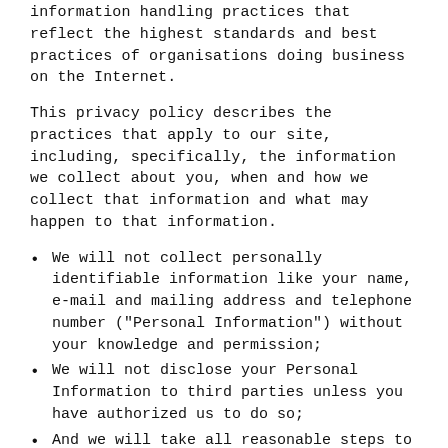information handling practices that reflect the highest standards and best practices of organisations doing business on the Internet.
This privacy policy describes the practices that apply to our site, including, specifically, the information we collect about you, when and how we collect that information and what may happen to that information.
We will not collect personally identifiable information like your name, e-mail and mailing address and telephone number ("Personal Information") without your knowledge and permission;
We will not disclose your Personal Information to third parties unless you have authorized us to do so;
And we will take all reasonable steps to protect the security of the Personal Information we collect from you.
Your Personal Information
Lensesonline.co.nz does not collect personally identifiable information on our website, such as your name, address, e-mail address or telephone number, without your